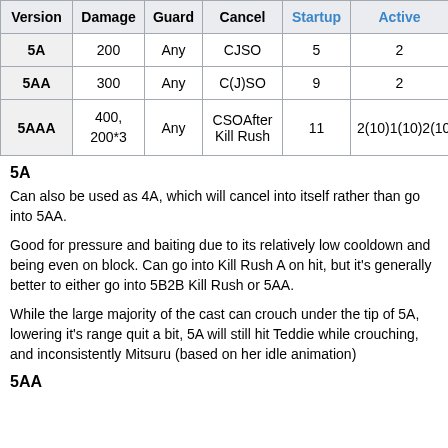| Version | Damage | Guard | Cancel | Startup | Active |
| --- | --- | --- | --- | --- | --- |
| 5A | 200 | Any | CJSO | 5 | 2 |
| 5AA | 300 | Any | C(J)SO | 9 | 2 |
| 5AAA | 400, 200*3 | Any | CSOAfter Kill Rush | 11 | 2(10)1(10)2(10)2 |
5A
Can also be used as 4A, which will cancel into itself rather than go into 5AA.
Good for pressure and baiting due to its relatively low cooldown and being even on block. Can go into Kill Rush A on hit, but it's generally better to either go into 5B2B Kill Rush or 5AA.
While the large majority of the cast can crouch under the tip of 5A, lowering it's range quit a bit, 5A will still hit Teddie while crouching, and inconsistently Mitsuru (based on her idle animation)
5AA